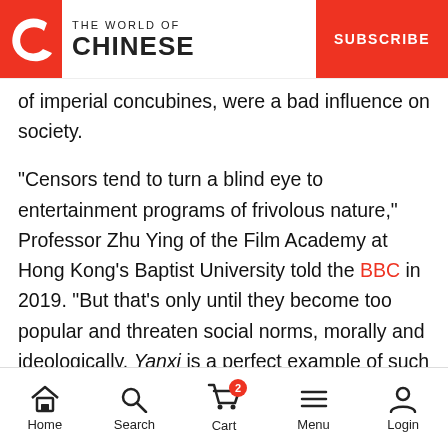THE WORLD OF CHINESE | SUBSCRIBE
of imperial concubines, were a bad influence on society. "Censors tend to turn a blind eye to entertainment programs of frivolous nature," Professor Zhu Ying of the Film Academy at Hong Kong's Baptist University told the BBC in 2019. “But that’s only until they become too popular and threaten social norms, morally and ideologically. Yanxi is a perfect example of such a show.”
In response to these vague and ever-shifting guidelines, studios typically self-censor or even avoid certain productions altogether. According to the NRTA, the number of period dramas submitted by TV studios for filming
Home  Search  Cart  Menu  Login